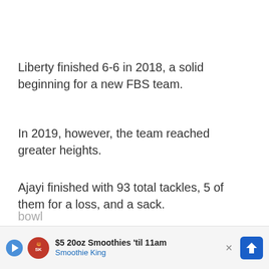Liberty finished 6-6 in 2018, a solid beginning for a new FBS team.
In 2019, however, the team reached greater heights.
Ajayi finished with 93 total tackles, 5 of them for a loss, and a sack.
Additionally, he helped lead the Flames to an 8-
5 rec                                                                    t
bowl
[Figure (infographic): Advertisement banner for Smoothie King: '$5 20oz Smoothies til 11am' with Smoothie King logo, a blue play button, a blue diamond-shaped direction arrow icon, and an X close button.]